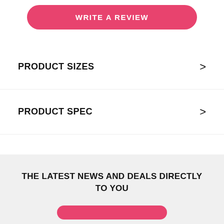WRITE A REVIEW
PRODUCT SIZES
PRODUCT SPEC
THE LATEST NEWS AND DEALS DIRECTLY TO YOU